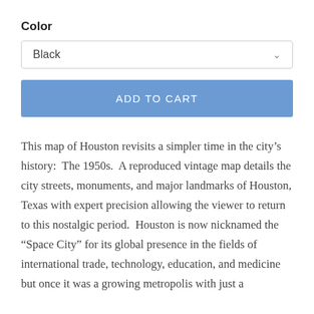Color
[Figure (screenshot): Dropdown selector showing 'Black' with a chevron arrow on the right]
[Figure (screenshot): Blue 'ADD TO CART' button]
This map of Houston revisits a simpler time in the city's history:  The 1950s.  A reproduced vintage map details the city streets, monuments, and major landmarks of Houston, Texas with expert precision allowing the viewer to return to this nostalgic period.  Houston is now nicknamed the “Space City” for its global presence in the fields of international trade, technology, education, and medicine but once it was a growing metropolis with just a